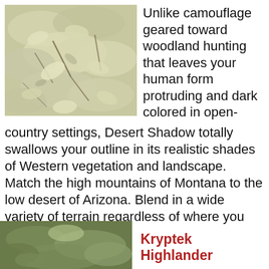[Figure (photo): Close-up photo of pale grey-green lichen or dried vegetation with complex layered texture, brownish branches visible underneath]
Unlike camouflage geared toward woodland hunting that leaves your human form protruding and dark colored in open-country settings, Desert Shadow totally swallows your outline in its realistic shades of Western vegetation and landscape. Match the high mountains of Montana to the low desert of Arizona. Blend in a wide variety of terrain regardless of where you hunt.
[Figure (photo): Close-up photo of camouflage pattern showing greens and browns, partially visible at bottom of page]
Kryptek Highlander